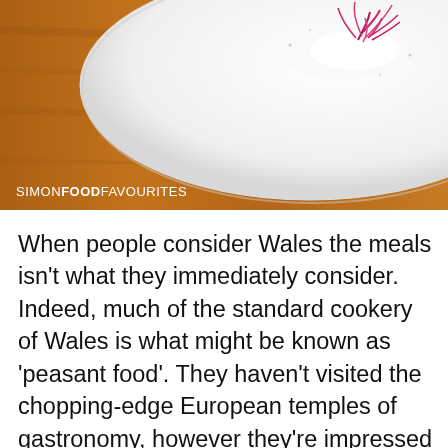[Figure (photo): Close-up photo of a white oval plate on a wooden surface, with white powdery substance and pink/magenta microgreens or edible flowers arranged on it. Watermark text 'SIMONFOODFAVOURITES' overlaid in bottom-left.]
When people consider Wales the meals isn't what they immediately consider. Indeed, much of the standard cookery of Wales is what might be known as 'peasant food'. They haven't visited the chopping-edge European temples of gastronomy, however they're impressed by that cooking, by way of cookbooks, and so they level to the influence of meals eaten, for instance, at Danny Meyer's eating places in New York, for the meals and full